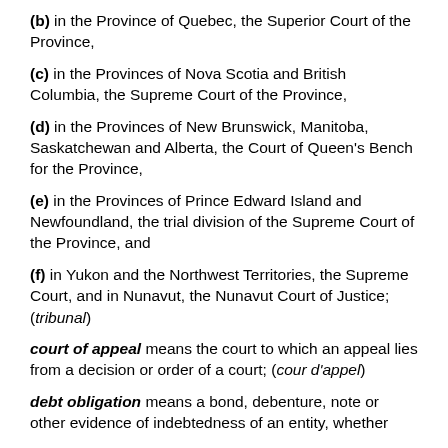(b) in the Province of Quebec, the Superior Court of the Province,
(c) in the Provinces of Nova Scotia and British Columbia, the Supreme Court of the Province,
(d) in the Provinces of New Brunswick, Manitoba, Saskatchewan and Alberta, the Court of Queen's Bench for the Province,
(e) in the Provinces of Prince Edward Island and Newfoundland, the trial division of the Supreme Court of the Province, and
(f) in Yukon and the Northwest Territories, the Supreme Court, and in Nunavut, the Nunavut Court of Justice; (tribunal)
court of appeal means the court to which an appeal lies from a decision or order of a court; (cour d'appel)
debt obligation means a bond, debenture, note or other evidence of indebtedness of an entity, whether...